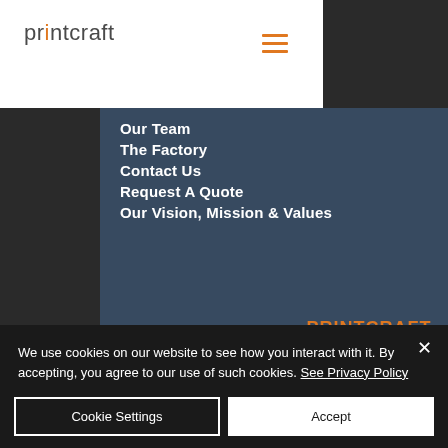printcraft
Our Team
The Factory
Contact Us
Request A Quote
Our Vision, Mission & Values
Contact Us
PRINTCRAFT
37 College Street
Hamilton QLD 4007
PO Box 1078 Eagle Farm 4009
Phone: 07 3291 2444
We use cookies on our website to see how you interact with it. By accepting, you agree to our use of such cookies. See Privacy Policy
Cookie Settings
Accept